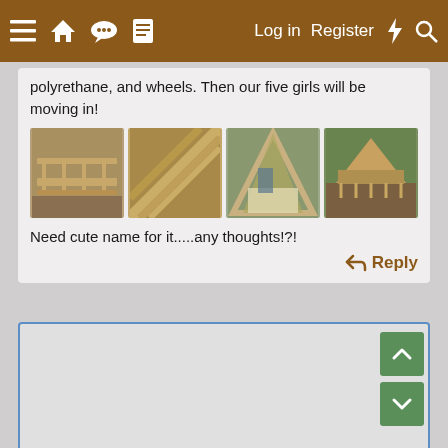≡ 🏠 💬 📄  Log in  Register  ⚡  🔍
polyrethane, and wheels. Then our five girls will be moving in!
[Figure (photo): Four photos of a wooden A-frame chicken coop/tractor under construction and completed, shown from different angles. Made of light-colored lumber.]
Need cute name for it.....any thoughts!?!
↩ Reply